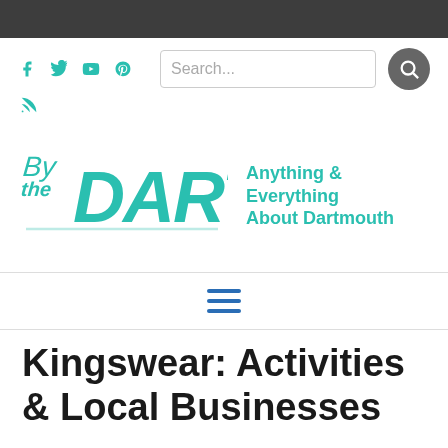By The Dart — Anything & Everything About Dartmouth
[Figure (logo): By The Dart logo in teal handwritten/brush script with tagline 'Anything & Everything About Dartmouth']
Kingswear: Activities & Local Businesses